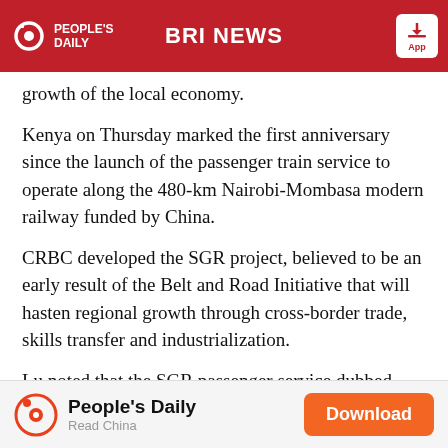PEOPLE'S DAILY | BRI NEWS | App
growth of the local economy.
Kenya on Thursday marked the first anniversary since the launch of the passenger train service to operate along the 480-km Nairobi-Mombasa modern railway funded by China.
CRBC developed the SGR project, believed to be an early result of the Belt and Road Initiative that will hasten regional growth through cross-border trade, skills transfer and industrialization.
Lu noted that the SGR passenger service dubbed "Madaraka Express" has spurred growth of indigenous
People's Daily — Read China — Download